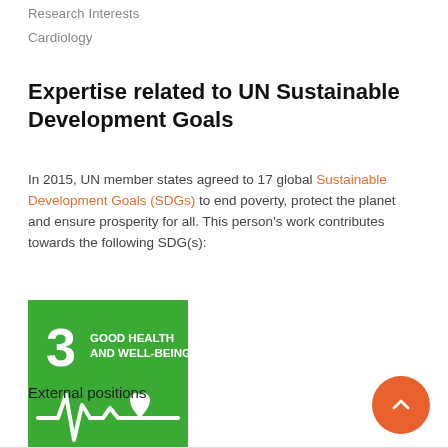Research Interests
Cardiology
Expertise related to UN Sustainable Development Goals
In 2015, UN member states agreed to 17 global Sustainable Development Goals (SDGs) to end poverty, protect the planet and ensure prosperity for all. This person's work contributes towards the following SDG(s):
[Figure (logo): UN SDG Goal 3: Good Health and Well-Being badge — green square with white number 3, text 'GOOD HEALTH AND WELL-BEING', and an EKG/heartbeat line with heart icon]
External positions